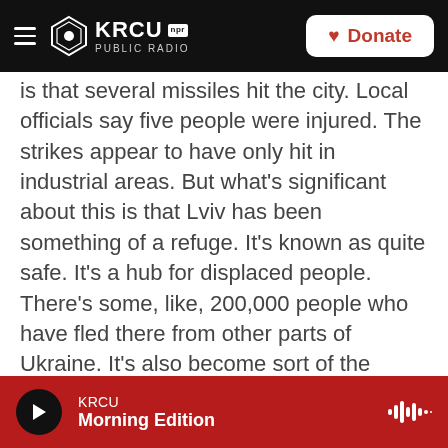KRCU NPR PUBLIC RADIO | Donate
is that several missiles hit the city. Local officials say five people were injured. The strikes appear to have only hit in industrial areas. But what's significant about this is that Lviv has been something of a refuge. It's known as quite safe. It's a hub for displaced people. There's some, like, 200,000 people who have fled there from other parts of Ukraine. It's also become sort of the humanitarian hub. A lot of the aid supplies are coming through there. So a strike there is unusual, and it is concerning because it is a place where much of the aid work is happening.
KURTZLEBEN: And you're on the opposite side of
KRCU | Morning Edition